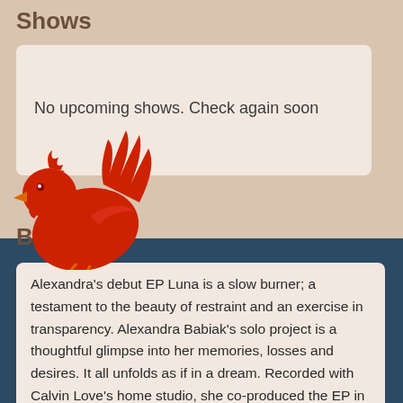Shows
No upcoming shows. Check again soon
[Figure (illustration): Red bird/rooster silhouette illustration overlapping the shows box]
Bio
Alexandra's debut EP Luna is a slow burner; a testament to the beauty of restraint and an exercise in transparency. Alexandra Babiak's solo project is a thoughtful glimpse into her memories, losses and desires. It all unfolds as if in a dream. Recorded with Calvin Love's home studio, she co-produced the EP in a moment of intentional courage- ready to release these songs and step